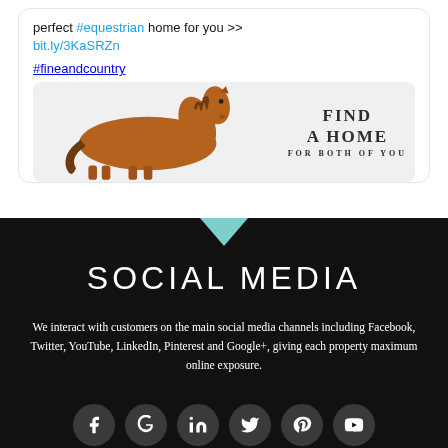perfect #equestrian home for you >> bit.ly/3KaSRZn

#fineandcountry
[Figure (photo): Tweet card showing a chestnut horse with text 'FIND A HOME FOR BOTH OF YOU' on the right side]
SOCIAL MEDIA
We interact with customers on the main social media channels including Facebook, Twitter, YouTube, LinkedIn, Pinterest and Google+, giving each property maximum online exposure.
[Figure (infographic): Row of social media icon circles: Facebook, Google+, LinkedIn, Twitter, Pinterest, YouTube]